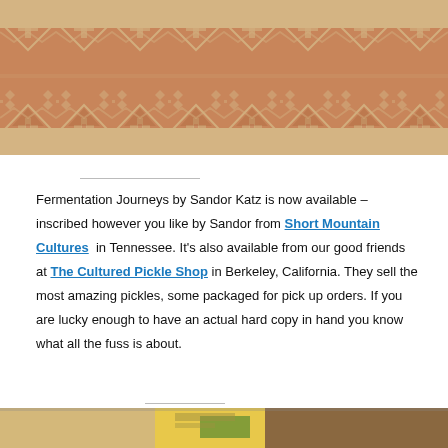[Figure (illustration): Decorative top image showing a tan/sandy background with a terracotta-red geometric cross-stitch style patterned band spanning the full width.]
Fermentation Journeys by Sandor Katz is now available – inscribed however you like by Sandor from Short Mountain Cultures in Tennessee. It's also available from our good friends at The Cultured Pickle Shop in Berkeley, California. They sell the most amazing pickles, some packaged for pick up orders. If you are lucky enough to have an actual hard copy in hand you know what all the fuss is about.
[Figure (photo): Bottom portion of a photo showing what appears to be books or packages on a shelf or counter, partially visible at the bottom of the page.]